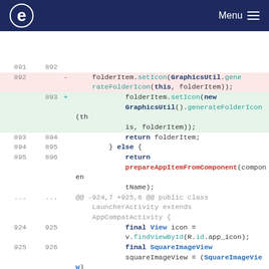e  Menu
Code diff view showing lines 891-926 of a Java file with changes to folderItem.setIcon() calls and other code
| old | new | sign | code |
| --- | --- | --- | --- |
| 891 | 892 |  |  |
| 892 |  |  | - |
| 892 |  |  |     folderItem.setIcon(GraphicsUtil.generateFolderIcon(this, folderItem)); |
|  | 893 | + |             folderItem.setIcon(new GraphicsUtil().generateFolderIcon(this, folderItem)); |
| 893 | 894 |  |             return folderItem; |
| 894 | 895 |  |         } else { |
| 895 | 896 |  |             return prepareAppItemFromComponent(componentName); |
| ... | ... |  | @@ -924,7 +925,6 @@ public class LauncherActivity extends AppCompatActivity { |
| 924 | 925 |  |             final View icon = v.findViewById(R.id.app_icon); |
| 925 | 926 |  |             final SquareImageView squareImageView = (SquareImageView) v.findViewById( |